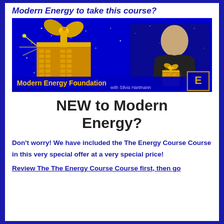Modern Energy to take this course?
[Figure (photo): Modern Energy Foundation promotional image with Silvia Hartmann holding a glowing golden gift box on a blue background with golden decorative gift box and sparkles. Text reads 'Modern Energy Foundation with Silvia Hartmann' with a gold E logo.]
NEW to Modern Energy?
Don't worry! We have included the The Energy Course Course in this very special offer at a very special price!
Review The The Energy Course Course first, then go